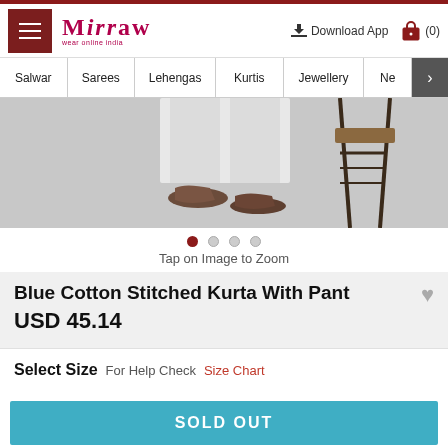Mirraw — Wear Online India | Download App | Cart (0)
[Figure (screenshot): Navigation bar with categories: Salwar, Sarees, Lehengas, Kurtis, Jewellery, Ne (more)]
[Figure (photo): Product photo showing the lower portion of a model wearing a blue kurta with pant and flat shoes, with a stool in background on grey background]
Tap on Image to Zoom
Blue Cotton Stitched Kurta With Pant
USD 45.14
Select Size  For Help Check Size Chart
SOLD OUT